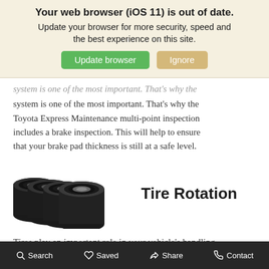Your web browser (iOS 11) is out of date.
Update your browser for more security, speed and the best experience on this site.
system is one of the most important. That's why the Toyota Express Maintenance multi-point inspection includes a brake inspection. This will help to ensure that your brake pad thickness is still at a safe level.
[Figure (photo): Stack of four black car tires leaning together]
Tire Rotation
Tires play an important role in your vehicle's handling performance, driving comfort and fuel efficiency. Our tire rotation service includes...
Search  Saved  Share  Contact